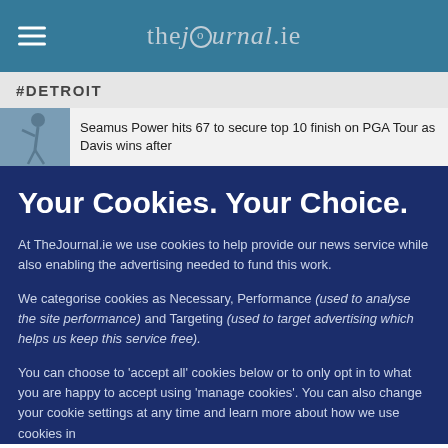thejournal.ie
#DETROIT
Seamus Power hits 67 to secure top 10 finish on PGA Tour as Davis wins after
Your Cookies. Your Choice.
At TheJournal.ie we use cookies to help provide our news service while also enabling the advertising needed to fund this work.
We categorise cookies as Necessary, Performance (used to analyse the site performance) and Targeting (used to target advertising which helps us keep this service free).
You can choose to ‘accept all’ cookies below or to only opt in to what you are happy to accept using ‘manage cookies’. You can also change your cookie settings at any time and learn more about how we use cookies in